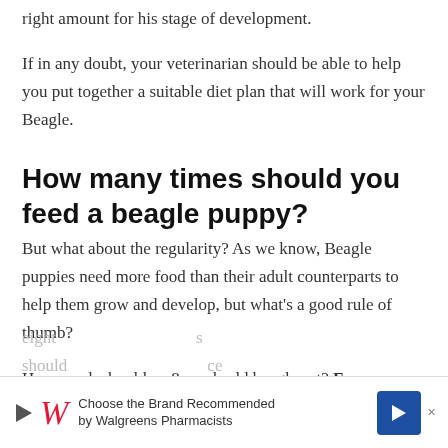right amount for his stage of development.
If in any doubt, your veterinarian should be able to help you put together a suitable diet plan that will work for your Beagle.
How many times should you feed a beagle puppy?
But what about the regularity? As we know, Beagle puppies need more food than their adult counterparts to help them grow and develop, but what's a good rule of thumb?
How much should an 8-week-old beagle eat? From eight [weeks old, beagle puppies] should [eat...] ce
[Figure (other): Walgreens advertisement banner: 'Choose the Brand Recommended by Walgreens Pharmacists' with Walgreens logo, play button, and blue arrow navigation button.]